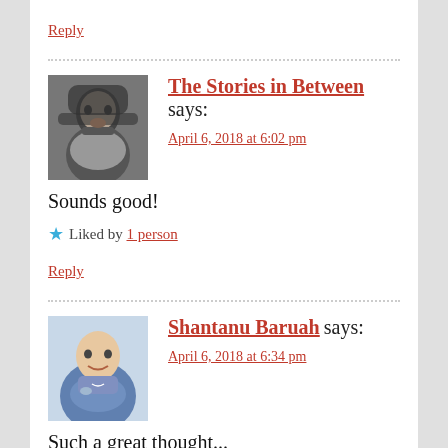Reply
The Stories in Between says:
April 6, 2018 at 6:02 pm
Sounds good!
Liked by 1 person
Reply
Shantanu Baruah says:
April 6, 2018 at 6:34 pm
Such a great thought...